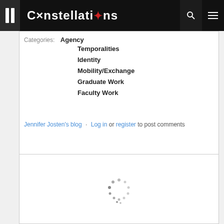Constellations
Categories: Agency
Temporalities
Identity
Mobility/Exchange
Graduate Work
Faculty Work
Jennifer Josten's blog · Log in or register to post comments
[Figure (screenshot): Loading spinner (animated dots) in a white content card area]